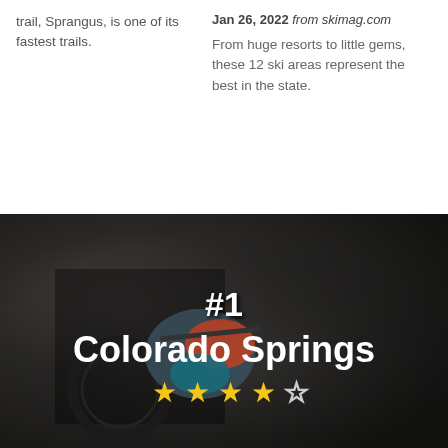trail, Sprangus, is one of its fastest trails.
Jan 26, 2022 from skimag.com
From huge resorts to little gems, these 12 ski areas represent the best in the state.
[Figure (photo): Mountain bike rider on a dirt trail at night or in dark conditions, overlaid with text '#1 Colorado Springs' and 4.5-star rating]